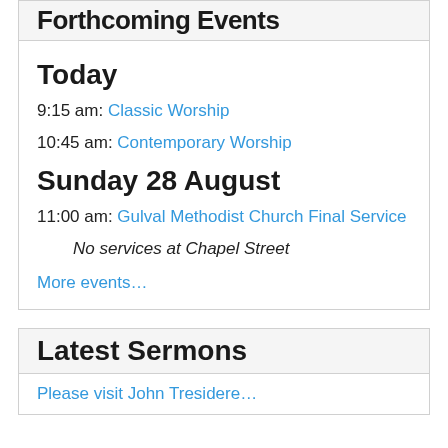Forthcoming Events
Today
9:15 am: Classic Worship
10:45 am: Contemporary Worship
Sunday 28 August
11:00 am: Gulval Methodist Church Final Service
No services at Chapel Street
More events…
Latest Sermons
Please visit John Tresidere…